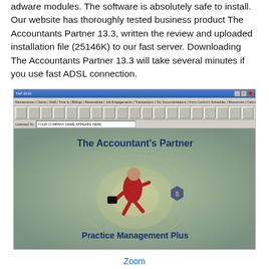adware modules. The software is absolutely safe to install. Our website has thoroughly tested business product The Accountants Partner 13.3, written the review and uploaded installation file (25146K) to our fast server. Downloading The Accountants Partner 13.3 will take several minutes if you use fast ADSL connection.
[Figure (screenshot): Screenshot of The Accountant's Partner software showing its splash screen with a running businessman figure, the text 'The Accountant's Partner' and 'Practice Management Plus' on a grey-green background, with a Windows-style title bar and toolbar at the top.]
Zoom